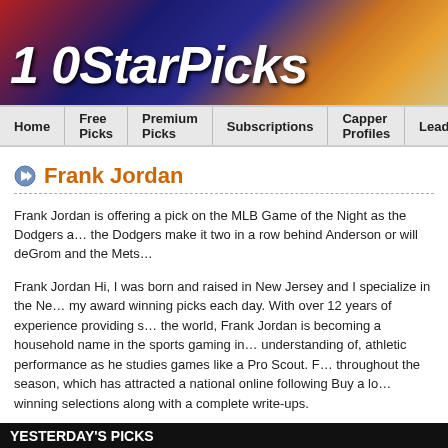[Figure (photo): 10StarPicks website banner with city skyline/Las Vegas background and logo text '10StarPicks' in white italic bold font]
Home | Free Picks | Premium Picks | Subscriptions | Capper Profiles | Leaderboa...
Frank Jordan
Frank Jordan is offering a pick on the MLB Game of the Night as the Dodgers a... the Dodgers make it two in a row behind Anderson or will deGrom and the Mets...
Frank Jordan Hi, I was born and raised in New Jersey and I specialize in the Ne... my award winning picks each day. With over 12 years of experience providing s... the world, Frank Jordan is becoming a household name in the sports gaming in... understanding of, athletic performance as he studies games like a Pro Scout. F... throughout the season, which has attracted a national online following Buy a lo... winning selections along with a complete write-ups.
YESTERDAY'S PICKS
Wednesday, August 31, 2022
Los Angeles Dodgers vs. New York Mets (MLB) - 7:10 PM EDT
Pick: Point Spread: -1.5/140    New York Mets   Rating: 8*    MLB Game of th...
Click Here to View Pick Analysis